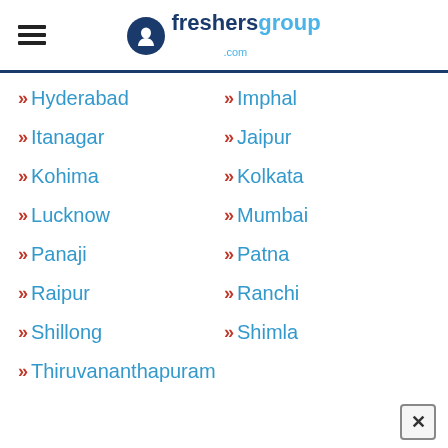freshersgroup.com
» Hyderabad
» Imphal
» Itanagar
» Jaipur
» Kohima
» Kolkata
» Lucknow
» Mumbai
» Panaji
» Patna
» Raipur
» Ranchi
» Shillong
» Shimla
» Thiruvananthapuram